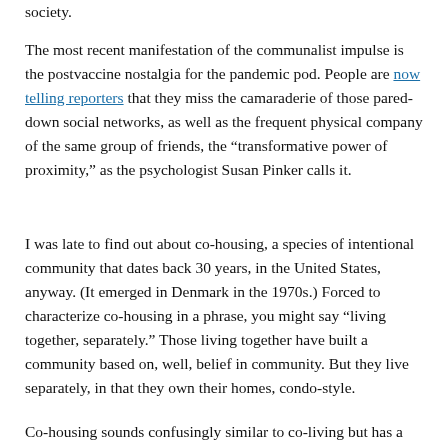society.
The most recent manifestation of the communalist impulse is the postvaccine nostalgia for the pandemic pod. People are now telling reporters that they miss the camaraderie of those pared-down social networks, as well as the frequent physical company of the same group of friends, the “transformative power of proximity,” as the psychologist Susan Pinker calls it.
I was late to find out about co-housing, a species of intentional community that dates back 30 years, in the United States, anyway. (It emerged in Denmark in the 1970s.) Forced to characterize co-housing in a phrase, you might say “living together, separately.” Those living together have built a community based on, well, belief in community. But they live separately, in that they own their homes, condo-style.
Co-housing sounds confusingly similar to co-living but has a